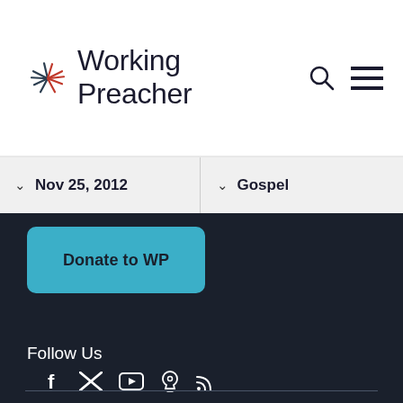[Figure (logo): Working Preacher logo with starburst icon on the left and text 'Working Preacher' on the right]
Working Preacher — search and menu icons
Nov 25, 2012
Gospel
Donate to WP
Follow Us
[Figure (infographic): Social media icons: Facebook, Twitter, YouTube, Apple Podcasts, RSS Feed]